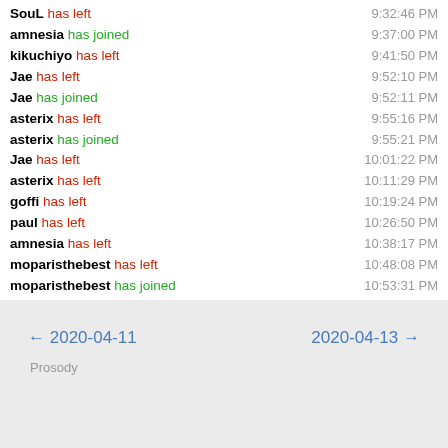SouL has left — 9:32:46 PM
amnesia has joined — 9:37:00 PM
kikuchiyo has left — 9:41:50 PM
Jae has left — 9:52:10 PM
Jae has joined — 9:52:11 PM
asterix has left — 9:55:16 PM
asterix has joined — 9:55:21 PM
Jae has left — 10:01:22 PM
asterix has left — 10:11:29 PM
goffi has left — 10:19:24 PM
paul has left — 10:26:50 PM
amnesia has left — 10:38:17 PM
moparisthebest has left — 10:48:08 PM
moparisthebest has joined — 10:53:31 PM
Marc has left — 11:39:01 PM
← 2020-04-11    2020-04-13 →
Prosody